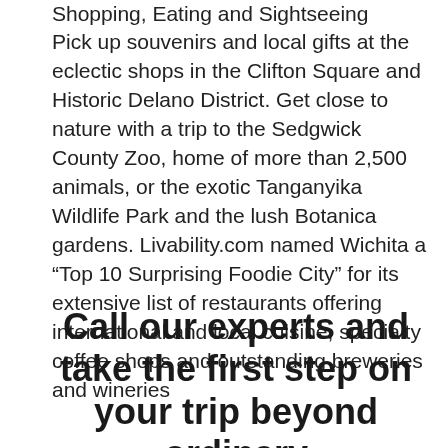Shopping, Eating and Sightseeing
Pick up souvenirs and local gifts at the eclectic shops in the Clifton Square and Historic Delano District. Get close to nature with a trip to the Sedgwick County Zoo, home of more than 2,500 animals, or the exotic Tanganyika Wildlife Park and the lush Botanica gardens. Livability.com named Wichita a “Top 10 Surprising Foodie City” for its extensive list of restaurants offering international and local cuisine, specialty coffee shops and outstanding breweries and wineries
Call our experts and take the first step on your trip beyond ordinary